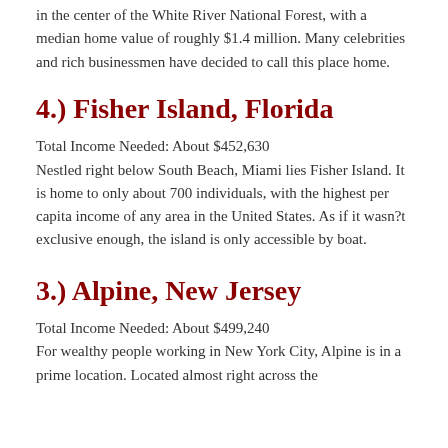in the center of the White River National Forest, with a median home value of roughly $1.4 million. Many celebrities and rich businessmen have decided to call this place home.
4.) Fisher Island, Florida
Total Income Needed: About $452,630
Nestled right below South Beach, Miami lies Fisher Island. It is home to only about 700 individuals, with the highest per capita income of any area in the United States. As if it wasn?t exclusive enough, the island is only accessible by boat.
3.) Alpine, New Jersey
Total Income Needed: About $499,240
For wealthy people working in New York City, Alpine is in a prime location. Located almost right across the